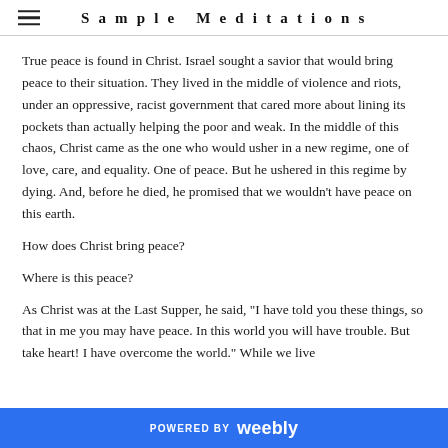Sample Meditations
True peace is found in Christ. Israel sought a savior that would bring peace to their situation. They lived in the middle of violence and riots, under an oppressive, racist government that cared more about lining its pockets than actually helping the poor and weak. In the middle of this chaos, Christ came as the one who would usher in a new regime, one of love, care, and equality. One of peace. But he ushered in this regime by dying. And, before he died, he promised that we wouldn't have peace on this earth.
How does Christ bring peace?
Where is this peace?
As Christ was at the Last Supper, he said, "I have told you these things, so that in me you may have peace. In this world you will have trouble. But take heart! I have overcome the world." While we live
POWERED BY weebly